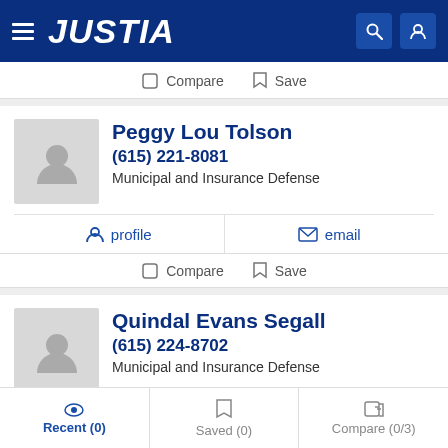JUSTIA
Compare  Save
Peggy Lou Tolson
(615) 221-8081
Municipal and Insurance Defense
profile  email
Compare  Save
Quindal Evans Segall
(615) 224-8702
Municipal and Insurance Defense
Recent (0)  Saved (0)  Compare (0/3)